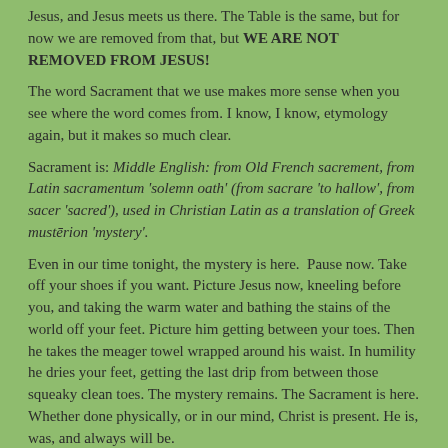Jesus, and Jesus meets us there. The Table is the same, but for now we are removed from that, but WE ARE NOT REMOVED FROM JESUS!
The word Sacrament that we use makes more sense when you see where the word comes from. I know, I know, etymology again, but it makes so much clear.
Sacrament is: Middle English: from Old French sacrement, from Latin sacramentum 'solemn oath' (from sacrare 'to hallow', from sacer 'sacred'), used in Christian Latin as a translation of Greek mustērion 'mystery'.
Even in our time tonight, the mystery is here. Pause now. Take off your shoes if you want. Picture Jesus now, kneeling before you, and taking the warm water and bathing the stains of the world off your feet. Picture him getting between your toes. Then he takes the meager towel wrapped around his waist. In humility he dries your feet, getting the last drip from between those squeaky clean toes. The mystery remains. The Sacrament is here. Whether done physically, or in our mind, Christ is present. He is, was, and always will be.